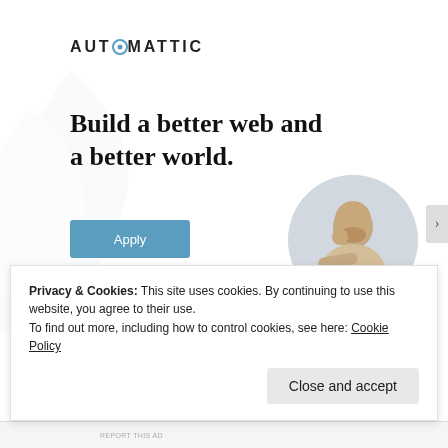Advertisements
[Figure (logo): Automattic logo with stylized 'O' in blue circle]
Build a better web and a better world.
[Figure (photo): Circular portrait photo of a man thinking, resting chin on hand]
Apply
REPORT THIS AD
Privacy & Cookies: This site uses cookies. By continuing to use this website, you agree to their use.
To find out more, including how to control cookies, see here: Cookie Policy
Close and accept